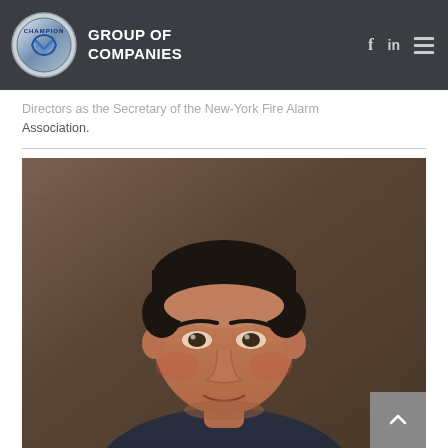CHAMPION GROUP OF COMPANIES
Directors as the Secretary of the New-York Fire Alarm Association.
[Figure (photo): Professional headshot photo of a middle-aged man with dark hair, facing the camera, set against a brown/wood-paneled background.]